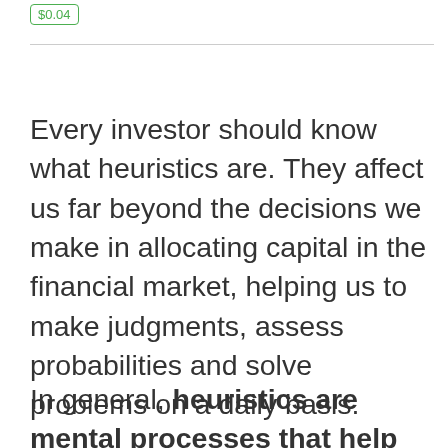$0.04
Every investor should know what heuristics are. They affect us far beyond the decisions we make in allocating capital in the financial market, helping us to make judgments, assess probabilities and solve problems on a daily basis.
In general, heuristics are mental processes that help us to reduce